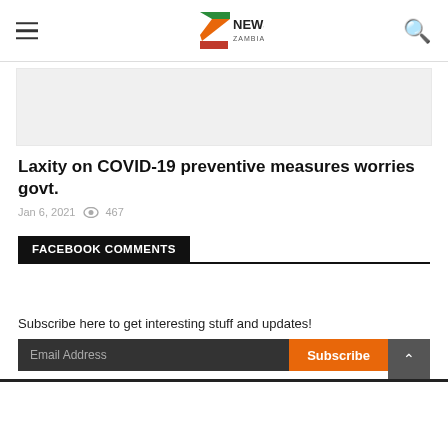ZNews Zambia
[Figure (screenshot): Article featured image placeholder area, light gray background]
Laxity on COVID-19 preventive measures worries govt.
Jan 6, 2021  467
FACEBOOK COMMENTS
Subscribe here to get interesting stuff and updates!
Email Address  Subscribe